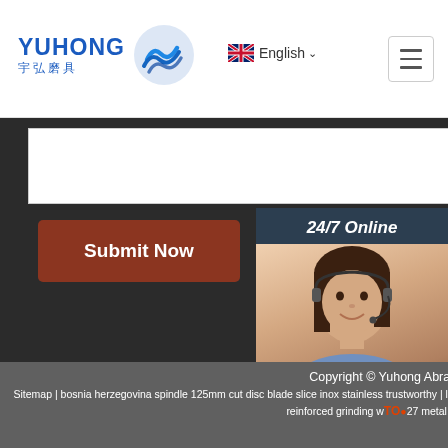YUHONG 宇弘磨具 — English
[Figure (screenshot): Submit Now button on dark background with white input box area]
[Figure (photo): 24/7 Online chat widget with customer service representative photo and 'Click here for free chat!' text and QUOTATION button]
Copyright © Yuhong Abrasive Co., Sitemap | bosnia herzegovina spindle 125mm cut disc blade slice inox stainless trustworthy | latvia alibaba 4 inch cutting discs metal modular design | romania miniature reinforced grinding wheel 127 metal modular design